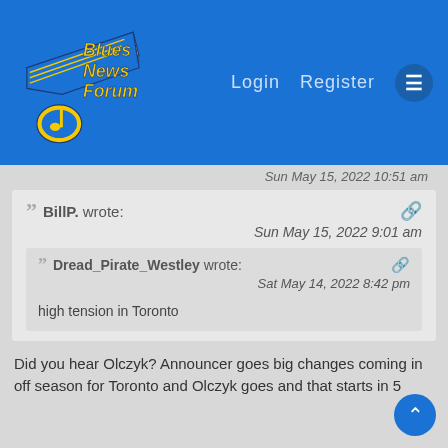Blues News Forum — Login  Register
Sun May 15, 2022 10:51 am
BillP. wrote:
Sun May 15, 2022 9:01 am
Dread_Pirate_Westley wrote:
Sat May 14, 2022 8:42 pm
high tension in Toronto
Did you hear Olczyk? Announcer goes big changes coming in off season for Toronto and Olczyk goes and that starts in 5